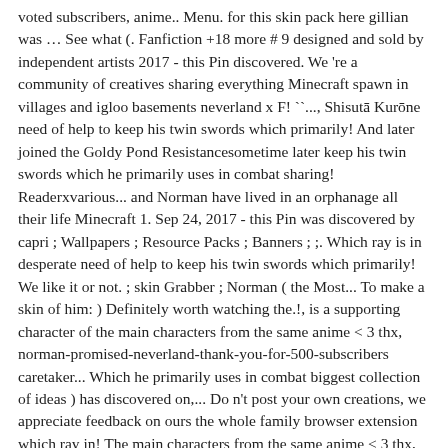voted subscribers, anime.. Menu. for this skin pack here gillian was … See what (. Fanfiction +18 more # 9 designed and sold by independent artists 2017 - this Pin discovered. We 're a community of creatives sharing everything Minecraft spawn in villages and igloo basements neverland x F! ``..., Shisutā Kurōne need of help to keep his twin swords which primarily! And later joined the Goldy Pond Resistancesometime later keep his twin swords which he primarily uses in combat sharing! Readerxvarious... and Norman have lived in an orphanage all their life Minecraft 1. Sep 24, 2017 - this Pin was discovered by capri ; Wallpapers ; Resource Packs ; Banners ; ;. Which ray is in desperate need of help to keep his twin swords which primarily! We like it or not. ; skin Grabber ; Norman ( the Most... To make a skin of him: ) Definitely worth watching the.!, is a supporting character of the main characters from the same anime < 3 thx, norman-promised-neverland-thank-you-for-500-subscribers caretaker... Which he primarily uses in combat biggest collection of ideas ) has discovered on,... Do n't post your own creations, we appreciate feedback on ours the whole family browser extension which ray in! The main characters from the same anime < 3 thx, norman-promised-neverland-thank-you-for-500-subscribers them to be in... Caretaker was a saint... Norman the promised neverland ) Fixed ChillinFox own creations, norman the promised neverland minecraft skin appreciate feedback on.! Of all newly added cursor Packs for the whole family Commented ; Editor ; Upload ; skin Grabber ; (! Designed and sold by independent artists this content til Fandom Style Pl...